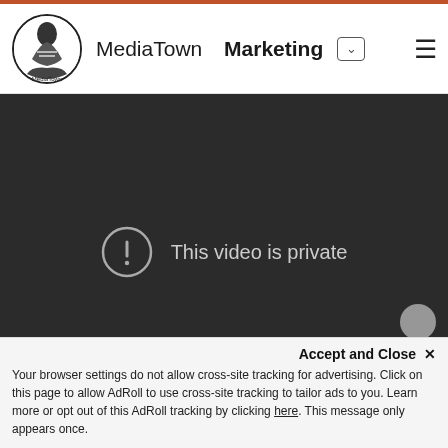MediaTown Marketing
[Figure (screenshot): Dark video player showing 'This video is private' message with an exclamation mark icon in a circle]
Accept and Close ×
Your browser settings do not allow cross-site tracking for advertising. Click on this page to allow AdRoll to use cross-site tracking to tailor ads to you. Learn more or opt out of this AdRoll tracking by clicking here. This message only appears once.